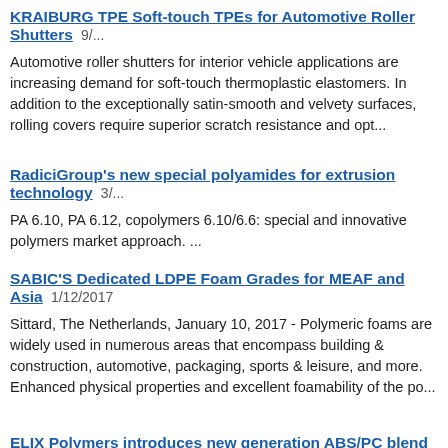KRAIBURG TPE Soft-touch TPEs for Automotive Roller Shutters
Automotive roller shutters for interior vehicle applications are increasing demand for soft-touch thermoplastic elastomers. In addition to the exceptionally satin-smooth and velvety surfaces, rolling covers require superior scratch resistance and opt...
RadiciGroup's new special polyamides for extrusion technology 3/
PA 6.10, PA 6.12, copolymers 6.10/6.6: special and innovative polymers market approach. ...
SABIC'S Dedicated LDPE Foam Grades for MEAF and Asia 1/12/2017
Sittard, The Netherlands, January 10, 2017 - Polymeric foams are widely used in numerous areas that encompass building & construction, automotive, packaging, sports & leisure, and more. Enhanced physical properties and excellent foamability of the po...
ELIX Polymers introduces new generation ABS/PC blend for major Automotive applications 10/27/2016
Tarragona, October 26, 2016 ?ELIX Polymers has introduced a new generation ABS/PC blend to meet the needs of the automotive industry. ELIX Ultra HIJ 4115 HI ABS/PC can help to achieve major...